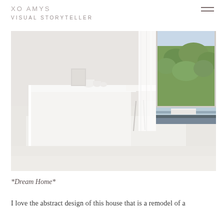XO AMYS VISUAL STORYTELLER
[Figure (photo): Interior of a minimalist modern home with a white kitchen island/bar counter, white floors, sheer white curtains, and a large window showing green hillside vegetation outside. White furniture and objects on the counter.]
*Dream Home*
I love the abstract design of this house that is a remodel of a